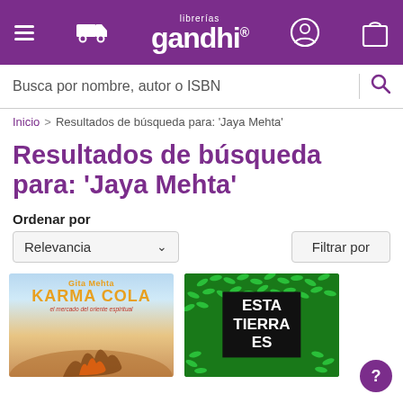librerías gandhi
Busca por nombre, autor o ISBN
Inicio > Resultados de búsqueda para: 'Jaya Mehta'
Resultados de búsqueda para: 'Jaya Mehta'
Ordenar por
Relevancia
Filtrar por
[Figure (illustration): Book cover: Karma Cola by Gita Mehta]
[Figure (illustration): Book cover: Esta Tierra Es (green spiral pattern cover)]